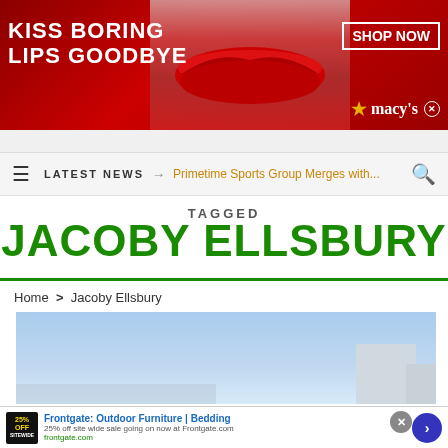[Figure (photo): Macy's advertisement banner: 'KISS BORING LIPS GOODBYE' with woman wearing red lipstick and 'SHOP NOW macy's' button]
LATEST NEWS → Primetime Sports Group Merges with...
TAGGED
JACOBY ELLSBURY
Home > Jacoby Ellsbury
[Figure (photo): Partial outdoor photo with light blue sky and stadium/building in background]
[Figure (photo): Frontgate advertisement: 'Frontgate: Outdoor Furniture | Bedding' - 25% off site wide sale going on now at Frontgate.com]